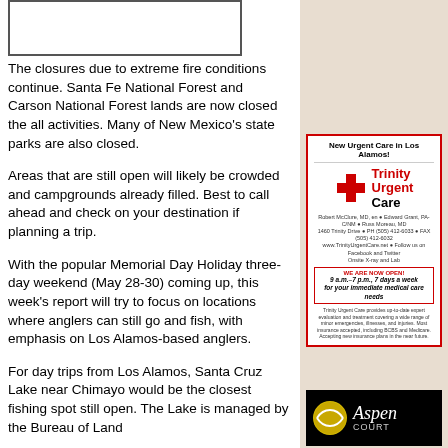[Figure (photo): Empty white image box with border at top left of article]
The closures due to extreme fire conditions continue. Santa Fe National Forest and Carson National Forest lands are now closed the all activities. Many of New Mexico's state parks are also closed.
Areas that are still open will likely be crowded and campgrounds already filled. Best to call ahead and check on your destination if planning a trip.
With the popular Memorial Day Holiday three-day weekend (May 28-30) coming up, this week's report will try to focus on locations where anglers can still go and fish, with emphasis on Los Alamos-based anglers.
For day trips from Los Alamos, Santa Cruz Lake near Chimayo would be the closest fishing spot still open. The Lake is managed by the Bureau of Land
[Figure (illustration): Trinity Urgent Care advertisement with red cross logo. Header: New Urgent Care in Los Alamos! Details: Robert McClure MD, Edward Grant, Nurse, Russ Moreau, 1460 Trinity Drive, phone numbers. WE ARE NOW OPEN 9 a.m.-7 p.m., 7 days a week for your immediate medical care needs.]
[Figure (logo): Aspen advertisement with tennis ball image on black background with cursive Aspen text]